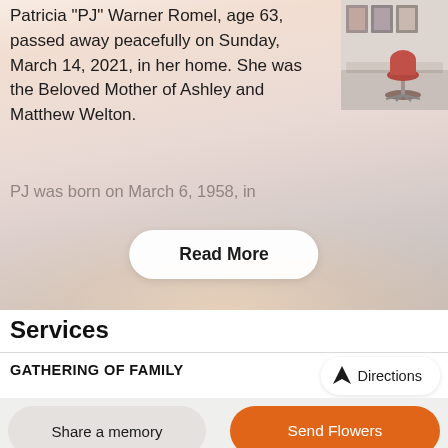Patricia "PJ" Warner Romel, age 63, passed away peacefully on Sunday, March 14, 2021, in her home. She was the Beloved Mother of Ashley and Matthew Welton.
[Figure (photo): Thumbnail photo showing a salon/studio room with a red chair, white desk, and artwork on the wall in the background.]
PJ was born on March 6, 1958, in
Read More
Services
GATHERING OF FAMILY
Directions
Share a memory
Send Flowers
Plant a Tree